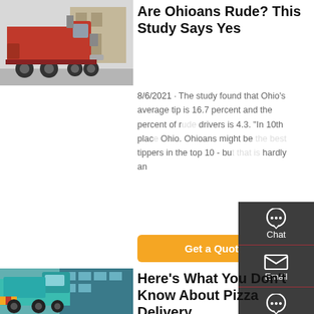[Figure (photo): Red semi-truck/tractor unit parked in an industrial area, side view showing the cab and front axles]
Are Ohioans Rude? This Study Says Yes
8/6/2021 · The study found that Ohio's average tip is 16.7 percent and the percent of rude drivers is 4.3. "In 10th place is Ohio. Ohioans might be the best tippers in the top 10 - but that is hardly an
[Figure (screenshot): Get a Quote orange button]
[Figure (infographic): Dark sidebar with Chat, Email, Contact, and Top navigation icons]
[Figure (photo): Teal/turquoise dump truck parked in front of a glass building]
Here's What You Don't Know About Pizza Delivery